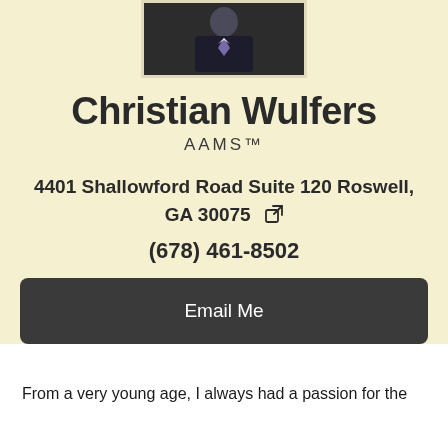[Figure (photo): Professional headshot of Christian Wulfers in a dark suit with a patterned tie]
Christian Wulfers
AAMS™
4401 Shallowford Road Suite 120 Roswell, GA 30075
(678) 461-8502
Email Me
From a very young age, I always had a passion for the